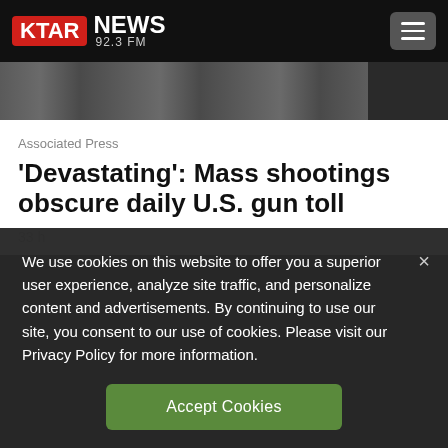KTAR NEWS 92.3 FM
[Figure (photo): Partial photo of a person wearing a sports jersey, cropped to show torso area]
Associated Press
'Devastating': Mass shootings obscure daily U.S. gun toll
We use cookies on this website to offer you a superior user experience, analyze site traffic, and personalize content and advertisements. By continuing to use our site, you consent to our use of cookies. Please visit our Privacy Policy for more information.
Accept Cookies